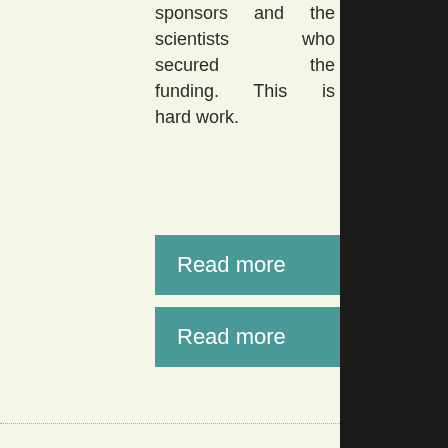sponsors and the scientists who secured the funding. This is hard work.
[Figure (other): Teal 'Read more' button with notched right edge]
[Figure (other): Teal 'Read more' button with notched right edge]